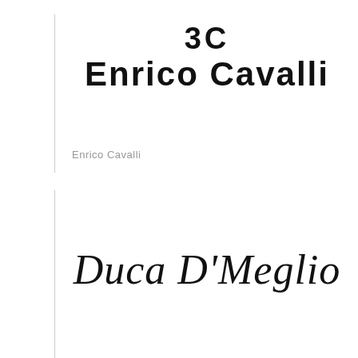[Figure (logo): 3C Enrico Cavalli brand logo in bold geometric sans-serif font, displayed as two lines: '3C' above 'Enrico Cavalli']
Enrico Cavalli
[Figure (logo): Duca D'Meglio brand logo in italic script/cursive font]